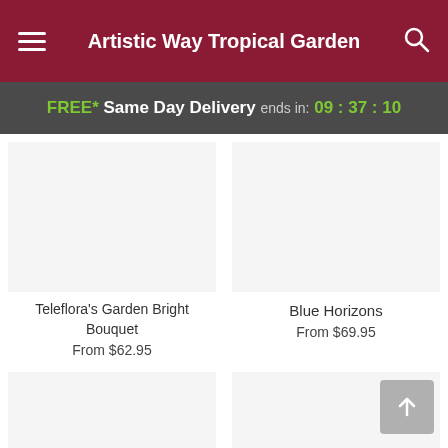Artistic Way Tropical Garden
FREE* Same Day Delivery ends in: 09:37:10
Teleflora's Garden Bright Bouquet
From $62.95
Blue Horizons
From $69.95
Teleflora's Sunny Day Pitcher of Daisies
Teleflora's Simply Sweet
From $54.95